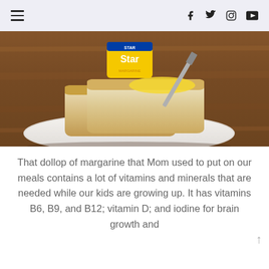≡  f  𝕏  ⊡  ▶
[Figure (photo): Photo of slices of white bread on a white plate on a wooden surface, with a yellow Star margarine tub in the background and a knife spreading yellow margarine on the front bread slice.]
That dollop of margarine that Mom used to put on our meals contains a lot of vitamins and minerals that are needed while our kids are growing up. It has vitamins B6, B9, and B12; vitamin D; and iodine for brain growth and